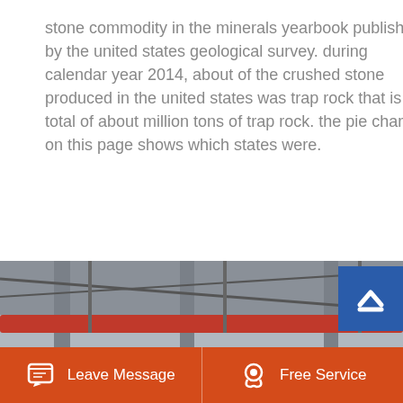stone commodity in the minerals yearbook published by the united states geological survey. during calendar year 2014, about of the crushed stone produced in the united states was trap rock that is a total of about million tons of trap rock. the pie chart on this page shows which states were.
Learn More
[Figure (photo): Industrial factory floor showing heavy machinery — jaw crushers with large red and black flywheels, red overhead crane beams, white machine housings, inside a large steel-frame industrial building.]
Leave Message
Free Service